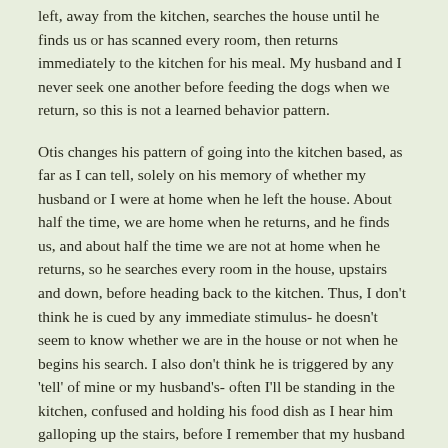left, away from the kitchen, searches the house until he finds us or has scanned every room, then returns immediately to the kitchen for his meal. My husband and I never seek one another before feeding the dogs when we return, so this is not a learned behavior pattern.
Otis changes his pattern of going into the kitchen based, as far as I can tell, solely on his memory of whether my husband or I were at home when he left the house. About half the time, we are home when he returns, and he finds us, and about half the time we are not at home when he returns, so he searches every room in the house, upstairs and down, before heading back to the kitchen. Thus, I don't think he is cued by any immediate stimulus- he doesn't seem to know whether we are in the house or not when he begins his search. I also don't think he is triggered by any 'tell' of mine or my husband's- often I'll be standing in the kitchen, confused and holding his food dish as I hear him galloping up the stairs, before I remember that my husband had a dentist appointment that morning and had thus still been home when we left for our walk.
If we were not at home when he left the house, Otis doesn't search, and doesn't appear distressed to find that we are not at home when he returns. If we were at home and remain there to be found when he returns, he does not show any distress. But, if